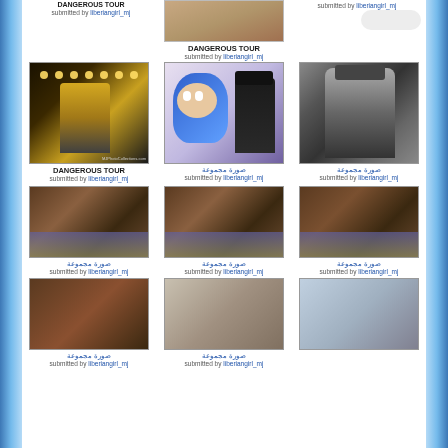[Figure (photo): Top center partial photo of person, cropped]
DANGEROUS TOUR
submitted by liberiangirl_mj
submitted by liberiangirl_mj
[Figure (photo): Michael Jackson performing on stage in gold costume]
DANGEROUS TOUR
submitted by liberiangirl_mj
[Figure (photo): Michael Jackson with Sonic the Hedgehog mascot character]
Arabic text
submitted by liberiangirl_mj
[Figure (photo): Black and white photo of Michael Jackson in military-style jacket]
Arabic text
submitted by liberiangirl_mj
[Figure (photo): Concert/event crowd photo 1]
Arabic text
submitted by liberiangirl_mj
[Figure (photo): Concert/event crowd photo 2]
Arabic text
submitted by liberiangirl_mj
[Figure (photo): Concert/event crowd photo 3]
Arabic text
submitted by liberiangirl_mj
[Figure (photo): Concert crowd photo 4]
Arabic text
submitted by liberiangirl_mj
[Figure (photo): Crowd event photo 5]
Arabic text
submitted by liberiangirl_mj
[Figure (photo): Airport/airplane photo partial]